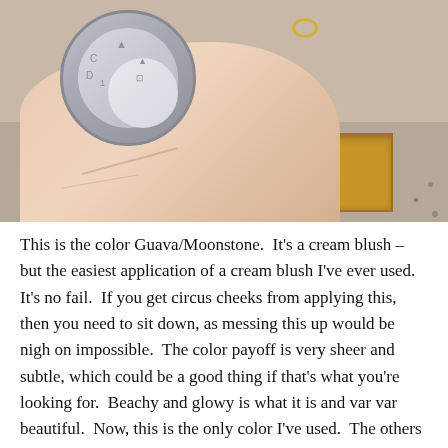[Figure (photo): A hand holding a round silver compact makeup container (cream blush), with a wooden box and speckled floor visible in the background.]
This is the color Guava/Moonstone.  It's a cream blush – but the easiest application of a cream blush I've ever used.  It's no fail.  If you get circus cheeks from applying this, then you need to sit down, as messing this up would be nigh on impossible.  The color payoff is very sheer and subtle, which could be a good thing if that's what you're looking for.  Beachy and glowy is what it is and var var beautiful.  Now, this is the only color I've used.  The others